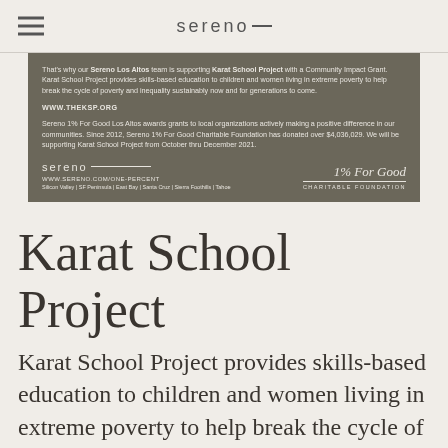sereno—
[Figure (screenshot): Dark olive-colored card with Sereno 1% For Good branding. Text describes Sereno Los Altos team supporting Karat School Project with a Community Impact Grant. Includes URL www.theksp.org, details about Sereno 1% For Good Charitable Foundation donating over $4,036,029, and support period October thru December 2021. Footer shows sereno— logo, www.sereno.com/one-percent, regional offices, and 1% For Good Charitable Foundation badge.]
Karat School Project
Karat School Project provides skills-based education to children and women living in extreme poverty to help break the cycle of poverty and inequality sustainably now and for generations to